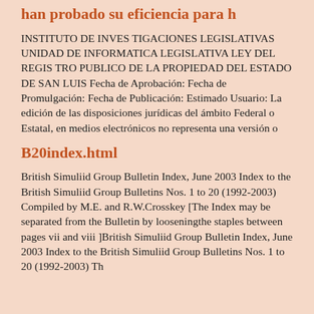han probado su eficiencia para h
INSTITUTO DE INVES TIGACIONES LEGISLATIVAS UNIDAD DE INFORMATICA LEGISLATIVA LEY DEL REGIS TRO PUBLICO DE LA PROPIEDAD DEL ESTADO DE SAN LUIS Fecha de Aprobación: Fecha de Promulgación: Fecha de Publicación: Estimado Usuario: La edición de las disposiciones jurídicas del ámbito Federal o Estatal, en medios electrónicos no representa una versión o
B20index.html
British Simuliid Group Bulletin Index, June 2003 Index to the British Simuliid Group Bulletins Nos. 1 to 20 (1992-2003) Compiled by M.E. and R.W.Crosskey [The Index may be separated from the Bulletin by looseningthe staples between pages vii and viii ]British Simuliid Group Bulletin Index, June 2003 Index to the British Simuliid Group Bulletins Nos. 1 to 20 (1992-2003) Th